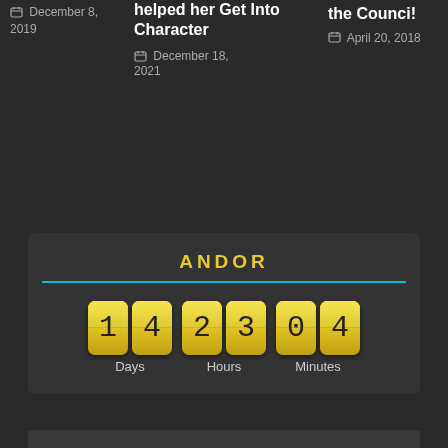December 8, 2019
helped her Get Into Character
December 18, 2021
the Counci!
April 20, 2018
[Figure (infographic): Countdown timer widget titled ANDOR with cyan underline, showing 6 yellow digit cards: 1, 4 (Days), 2, 3 (Hours), 0, 4 (Minutes)]
Days  Hours  Minutes